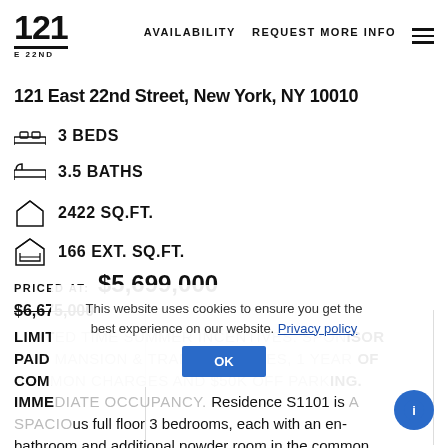121 E 22ND | AVAILABILITY | REQUEST MORE INFO
121 East 22nd Street, New York, NY 10010
3 BEDS
3.5 BATHS
2422 SQ.FT.
166 EXT. SQ.FT.
PRICED AT: $5,699,000
$6,675,000
LIMITED TIME SUMMER INCENTIVES: SPONSOR PAID MANSION & TRANSFER TAXES, 1 YEAR OF COMMON CHARGES AND $50K OFF PARKING. IMMEDIATE OCCUPANCY. Residence S1101 is a spacious full floor 3 bedrooms, each with an en-bathroom and additional powder room in the common